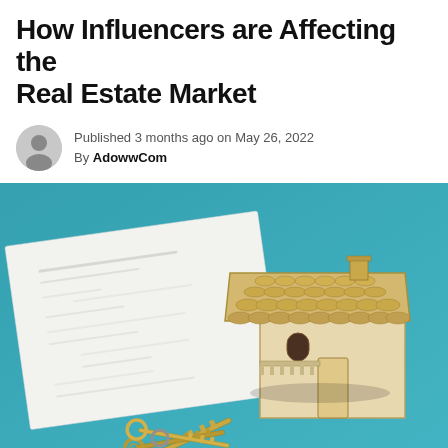How Influencers are Affecting the Real Estate Market
Published 3 months ago on May 26, 2022
By AdowwCom
[Figure (photo): Photo of a wooden miniature house model sitting on top of a document/contract paper, with house keys in the foreground, all on a teal/blue background.]